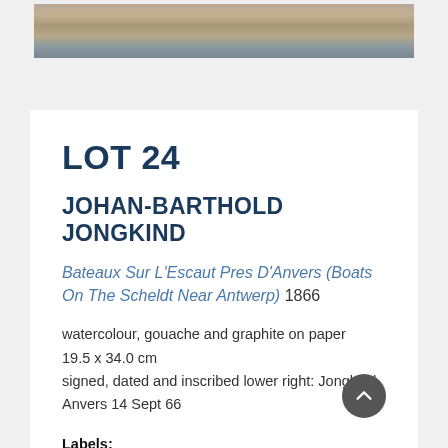[Figure (photo): Partial view of a watercolour painting showing boats on water, cropped at top of page]
LOT 24
JOHAN-BARTHOLD JONGKIND
Bateaux Sur L'Escaut Pres D'Anvers (Boats On The Scheldt Near Antwerp) 1866
watercolour, gouache and graphite on paper
19.5 x 34.0 cm
signed, dated and inscribed lower right: Jongkind Anvers 14 Sept 66
Labels:
Lebrun, Paris, framer's label attached verso
Thomas Agnew & Sons, London, label fragment attached